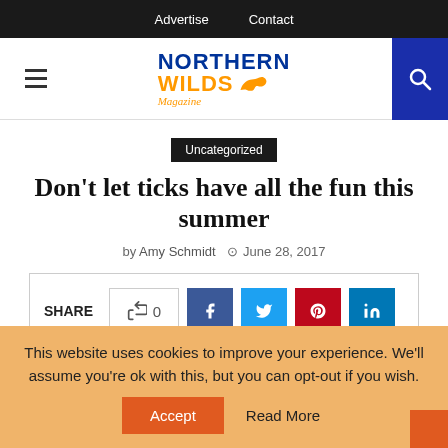Advertise  Contact
[Figure (logo): Northern Wilds Magazine logo with animal silhouette]
Uncategorized
Don't let ticks have all the fun this summer
by Amy Schmidt  June 28, 2017
[Figure (infographic): Share bar with like count 0, Facebook, Twitter, Pinterest, LinkedIn, Reddit, and Email buttons]
This website uses cookies to improve your experience. We'll assume you're ok with this, but you can opt-out if you wish.